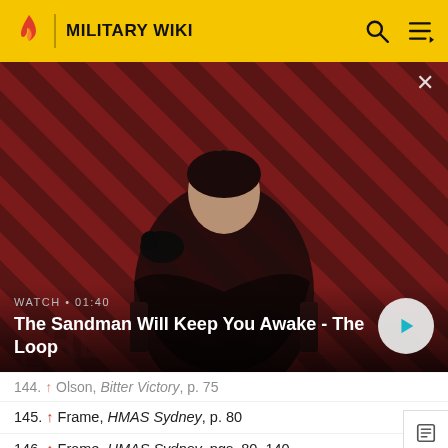MILITARY WIKI
[Figure (screenshot): Video thumbnail showing a dark-robed figure with a raven on their shoulder against a red and black diagonal striped background. Overlay text reads WATCH · 01:40 and title The Sandman Will Keep You Awake - The Loop with a play button.]
144. ↑ Olson, Bitter Victory, p. 75
145. ↑ Frame, HMAS Sydney, p. 80
146. ↑ Frame, HMAS Sydney, pgs. 80, 140
147. ↑ Frame, HMAS Sydney, p. 106
148. ↑ Cole, The Loss of HMAS Sydney II, vol. 1, p. 393
149. ↑ Olson, Bitter Victory, p. 111